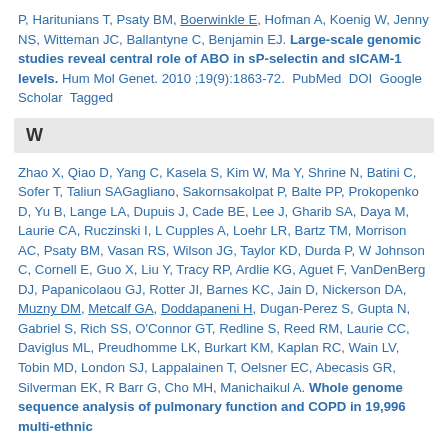P, Haritunians T, Psaty BM, Boerwinkle E, Hofman A, Koenig W, Jenny NS, Witteman JC, Ballantyne C, Benjamin EJ. Large-scale genomic studies reveal central role of ABO in sP-selectin and sICAM-1 levels. Hum Mol Genet. 2010 ;19(9):1863-72. PubMed DOI Google Scholar Tagged
W
Zhao X, Qiao D, Yang C, Kasela S, Kim W, Ma Y, Shrine N, Batini C, Sofer T, Taliun SAGagliano, Sakornsakolpat P, Balte PP, Prokopenko D, Yu B, Lange LA, Dupuis J, Cade BE, Lee J, Gharib SA, Daya M, Laurie CA, Ruczinski I, L Cupples A, Loehr LR, Bartz TM, Morrison AC, Psaty BM, Vasan RS, Wilson JG, Taylor KD, Durda P, W Johnson C, Cornell E, Guo X, Liu Y, Tracy RP, Ardlie KG, Aguet F, VanDenBerg DJ, Papanicolaou GJ, Rotter JI, Barnes KC, Jain D, Nickerson DA, Muzny DM, Metcalf GA, Doddapaneni H, Dugan-Perez S, Gupta N, Gabriel S, Rich SS, O'Connor GT, Redline S, Reed RM, Laurie CC, Daviglus ML, Preudhomme LK, Burkart KM, Kaplan RC, Wain LV, Tobin MD, London SJ, Lappalainen T, Oelsner EC, Abecasis GR, Silverman EK, R Barr G, Cho MH, Manichaikul A. Whole genome sequence analysis of pulmonary function and COPD in 19,996 multi-ethnic